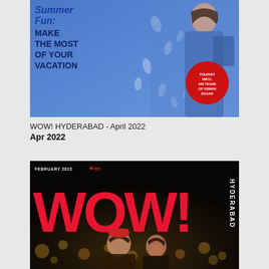[Figure (photo): Magazine cover of WOW! Hyderabad April 2022. Blue background with a woman in a blue printed outfit. Text reads: Summer Fun: MAKE THE MOST OF YOUR VACATION. Red circular badge: TOURIST INFO: 100 YEARS OF OSMAN SAGAR.]
WOW! HYDERABAD - April 2022
Apr 2022
[Figure (photo): Magazine cover of WOW! Hyderabad February 2022. Dark background with two celebrities. Large red WOW! logo text. Header: FEBRUARY 2022 ₹35. HYDERABAD text vertically on right side.]